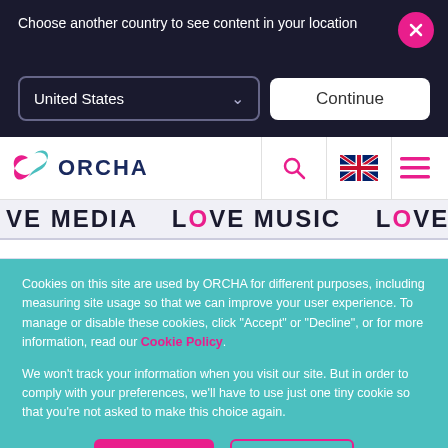Choose another country to see content in your location
United States
Continue
[Figure (logo): ORCHA logo with pink and teal leaf icon and dark blue ORCHA wordmark]
VE MEDIA   LOVE MUSIC   LOVE AR
Cookies on this site are used by ORCHA for different purposes, including measuring site usage so that we can improve your user experience. To manage or disable these cookies, click "Accept" or "Decline", or for more information, read our Cookie Policy.
We won't track your information when you visit our site. But in order to comply with your preferences, we'll have to use just one tiny cookie so that you're not asked to make this choice again.
Accept
Decline